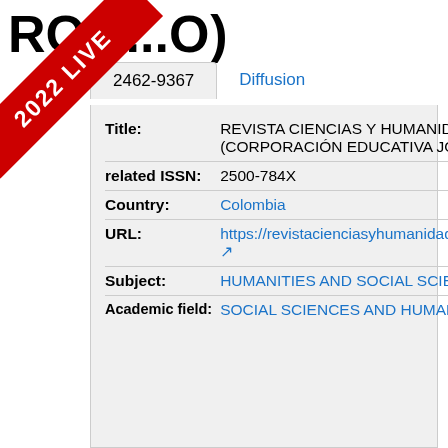RO...O)
[Figure (other): Red diagonal banner with text '2022 LIVE']
2462-9367 | Diffusion
| Title: | REVISTA CIENCIAS Y HUMANIDADES (CORPORACIÓN EDUCATIVA JORGE ROBLEDO) |
| related ISSN: | 2500-784X |
| Country: | Colombia |
| URL: | https://revistacienciasyhumanidades.com/index.php/home ↗ |
| Subject: | HUMANITIES AND SOCIAL SCIENCES IN GENERAL |
| Academic field: | SOCIAL SCIENCES AND HUMANITIES (GENERAL) |